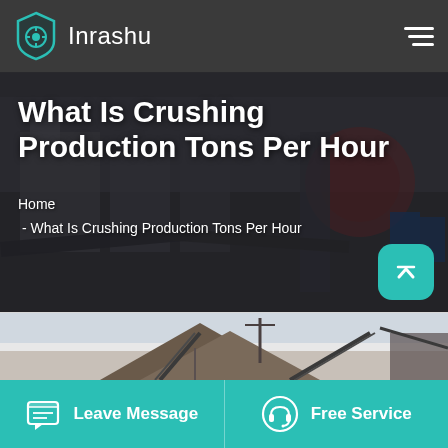Inrashu
What Is Crushing Production Tons Per Hour
Home
 - What Is Crushing Production Tons Per Hour
[Figure (photo): Industrial quarry crushing facility with conveyor belts, aggregate piles, and mechanical equipment against an outdoor background]
Leave Message   Free Service